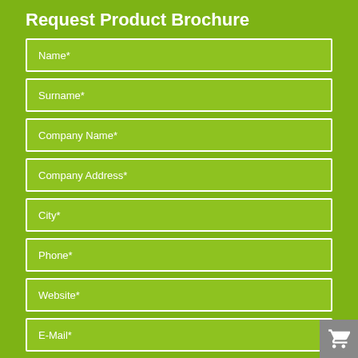Request Product Brochure
Name*
Surname*
Company Name*
Company Address*
City*
Phone*
Website*
E-Mail*